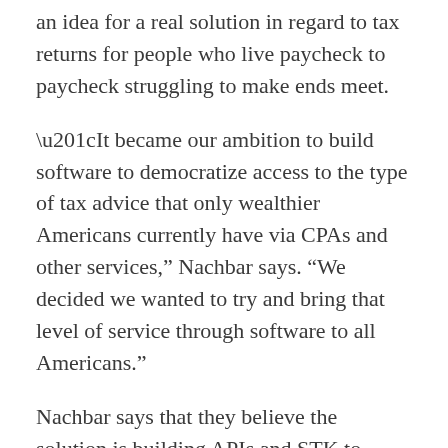an idea for a real solution in regard to tax returns for people who live paycheck to paycheck struggling to make ends meet.
“It became our ambition to build software to democratize access to the type of tax advice that only wealthier Americans currently have via CPAs and other services,” Nachbar says. “We decided we wanted to try and bring that level of service through software to all Americans.”
Nachbar says that they believe the solution is building APIs and STK to power tax filing and year round tax products in every mobile bank, neobank, fintech or financial app to drive more efficiency and accuracy.
By partnering with apps that already know something about your financial life, e can adjust that data and give